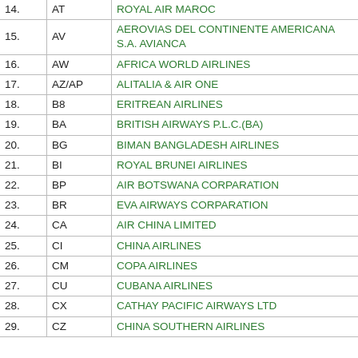| No. | Code | Airline Name |
| --- | --- | --- |
| 14. | AT | ROYAL AIR MAROC |
| 15. | AV | AEROVIAS DEL CONTINENTE AMERICANA S.A. AVIANCA |
| 16. | AW | AFRICA WORLD AIRLINES |
| 17. | AZ/AP | ALITALIA & AIR ONE |
| 18. | B8 | ERITREAN AIRLINES |
| 19. | BA | BRITISH AIRWAYS P.L.C.(BA) |
| 20. | BG | BIMAN BANGLADESH AIRLINES |
| 21. | BI | ROYAL BRUNEI AIRLINES |
| 22. | BP | AIR BOTSWANA CORPARATION |
| 23. | BR | EVA AIRWAYS CORPARATION |
| 24. | CA | AIR CHINA LIMITED |
| 25. | CI | CHINA AIRLINES |
| 26. | CM | COPA AIRLINES |
| 27. | CU | CUBANA AIRLINES |
| 28. | CX | CATHAY PACIFIC AIRWAYS LTD |
| 29. | CZ | CHINA SOUTHERN AIRLINES |